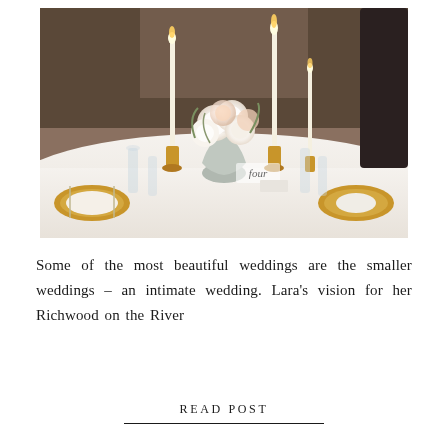[Figure (photo): Elegant wedding table centerpiece with white roses, candles in gold candlesticks, glassware, and gold charger plates on a white tablecloth. Table number 'four' visible in script.]
Some of the most beautiful weddings are the smaller weddings – an intimate wedding. Lara's vision for her Richwood on the River
READ POST